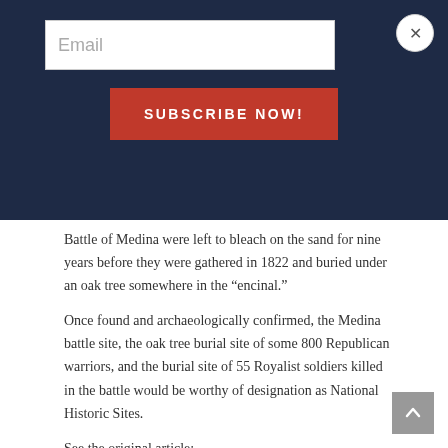[Figure (screenshot): Dark navy overlay with email subscription form. White email input box on left, red SUBSCRIBE NOW! button below, and a circular X close button top right.]
Battle of Medina were left to bleach on the sand for nine years before they were gathered in 1822 and buried under an oak tree somewhere in the “encinal.”
Once found and archaeologically confirmed, the Medina battle site, the oak tree burial site of some 800 Republican warriors, and the burial site of 55 Royalist soldiers killed in the battle would be worthy of designation as National Historic Sites.
See the original article:
https://www.pleasantonexpress.com/articles/207th-anniversary-of-the-battle-